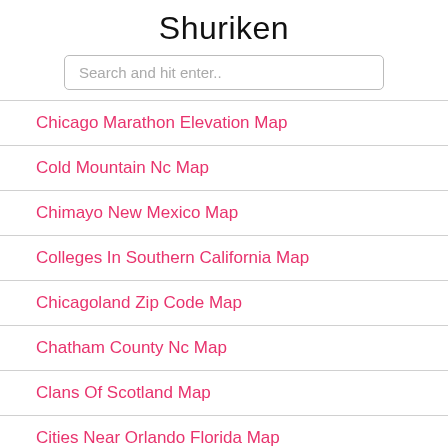Shuriken
Search and hit enter..
Chicago Marathon Elevation Map
Cold Mountain Nc Map
Chimayo New Mexico Map
Colleges In Southern California Map
Chicagoland Zip Code Map
Chatham County Nc Map
Clans Of Scotland Map
Cities Near Orlando Florida Map
College Of Charleston Campus Map
Cities Of Europe Map